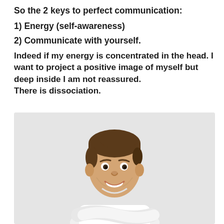So the 2 keys to perfect communication:
1) Energy (self-awareness)
2) Communicate with yourself.
Indeed if my energy is concentrated in the head. I want to project a positive image of myself but deep inside I am not reassured.
There is dissociation.
[Figure (photo): A smiling young man with crossed arms wearing a white t-shirt, on a light gray background]